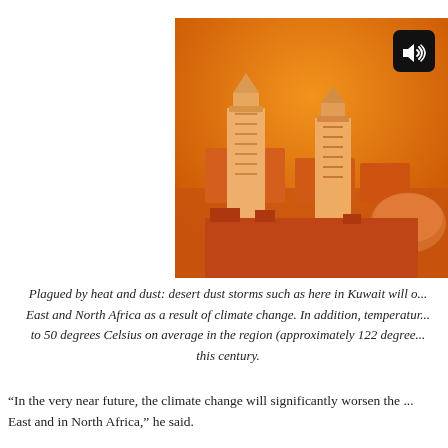[Figure (photo): A photograph of mosque minarets in Kuwait during a desert dust storm. The sky and entire scene is bathed in a deep orange haze from the dust. Two tall ornate minarets dominate the center; a large dome is visible to the right. A speaker/audio icon appears in the top-right corner of the image.]
Plagued by heat and dust: desert dust storms such as here in Kuwait will o... East and North Africa as a result of climate change. In addition, temperatur... to 50 degrees Celsius on average in the region (approximately 122 degree... this century.
“In the very near future, the climate change will significantly worsen the ... East and in North Africa,” he said.